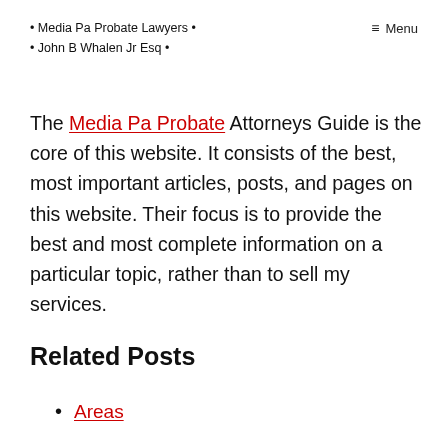• Media Pa Probate Lawyers • • John B Whalen Jr Esq •    ≡ Menu
The Media Pa Probate Attorneys Guide is the core of this website. It consists of the best, most important articles, posts, and pages on this website. Their focus is to provide the best and most complete information on a particular topic, rather than to sell my services.
Related Posts
Areas